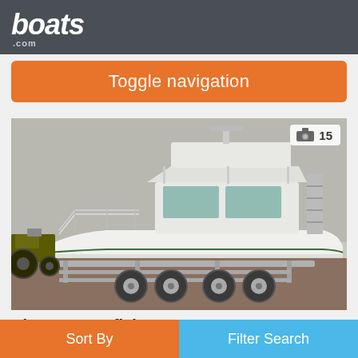boats.com
Toggle navigation
[Figure (photo): A white Riva 25 Sportfisherman boat on a trailer inside a warehouse or garage, with a motorcycle/tractor visible on the left side. Photo count badge showing camera icon and '15' in upper right corner.]
Riva 25 Sportfisherman
Sort By | Filter Search